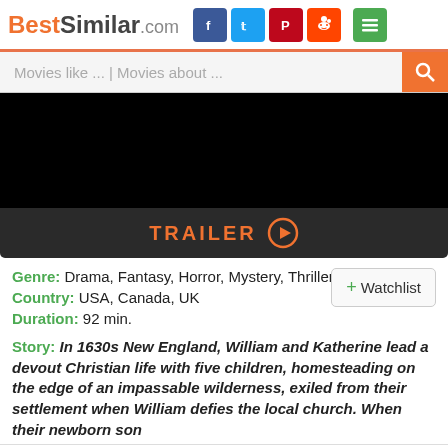BestSimilar.com
Movies like ... | Movies about ...
[Figure (screenshot): Black video player area]
TRAILER ▶
Genre: Drama, Fantasy, Horror, Mystery, Thriller
Country: USA, Canada, UK
Duration: 92 min.
Story: In 1630s New England, William and Katherine lead a devout Christian life with five children, homesteading on the edge of an impassable wilderness, exiled from their settlement when William defies the local church. When their newborn son
Cookies help us deliver our services. By using our website or clicking "Accept", you agree to our use of cookies as described in our Privacy Policy.
Preferences | Accept